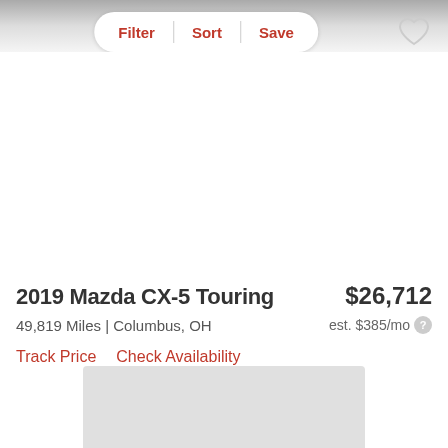Filter | Sort | Save
[Figure (photo): Car listing image area (white/blank vehicle photo region)]
2019 Mazda CX-5 Touring
$26,712
49,819 Miles | Columbus, OH
est. $385/mo
Track Price   Check Availability
[Figure (other): Gray advertisement/placeholder box at bottom]